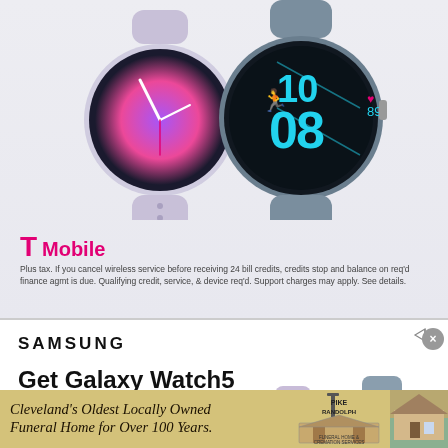[Figure (photo): T-Mobile advertisement showing two Samsung Galaxy Watch5 smartwatches. Left watch has a lavender/silver band with colorful round watch face. Right watch has a dark teal/graphite band displaying 10:08 time in cyan digital numbers with heart rate 89 shown.]
[Figure (logo): T-Mobile logo with magenta T icon and 'Mobile' text in magenta]
Plus tax. If you cancel wireless service before receiving 24 bill credits, credits stop and balance on req'd finance agmt is due. Qualifying credit, service, & device req'd. Support charges may apply. See details.
[Figure (photo): Samsung advertisement for Galaxy Watch5. Shows SAMSUNG wordmark at top, headline 'Get Galaxy Watch5 for only $99', subtext 'Via 24 monthly bill credits when you', and partial image of two Galaxy Watch5 watches in lavender and graphite colors.]
[Figure (logo): Pike Randolph & Son Funeral Home & Cremation Services logo with image of funeral home building]
Cleveland's Oldest Locally Owned Funeral Home for Over 100 Years.